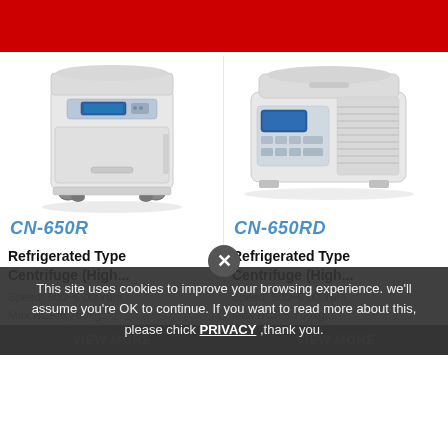[Figure (photo): Red header bar at the top of the page]
[Figure (photo): CN-650R Refrigerated Type Centrifuge (High capacity floor-standing model, white/beige cabinet with casters, blue display panel)]
CN-650R
Refrigerated Type Centrifuge (High...
Speed: 500~6,000rpm,
Max.RCF:5,760xg...
[Figure (photo): CN-650RD Refrigerated Type Centrifuge (High capacity benchtop model, white cabinet with ventilation grills on right side, blue display panel)]
CN-650RD
Refrigerated Type Centrifuge (High...
Speed: 500~6,000rpm,
Max.RCF:5,760xg...
VIEW MORE
VIEW MORE
This site uses cookies to improve your browsing experience. we'll assume you're OK to continue. If you want to read more about this, please chick PRIVACY ,thank you.